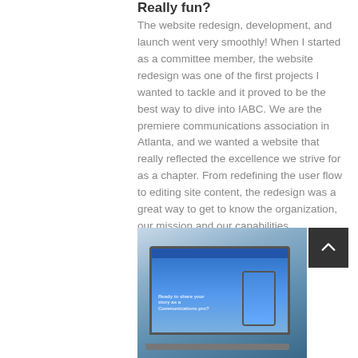Really fun?
The website redesign, development, and launch went very smoothly! When I started as a committee member, the website redesign was one of the first projects I wanted to tackle and it proved to be the best way to dive into IABC. We are the premiere communications association in Atlanta, and we wanted a website that really reflected the excellence we strive for as a chapter. From redefining the user flow to editing site content, the redesign was a great way to get to know the organization, our mission and our capabilities.
[Figure (photo): Photo of a laptop computer displaying a website with a blue header, alongside a smartphone showing a similar page, held in someone's hands against a blurred background.]